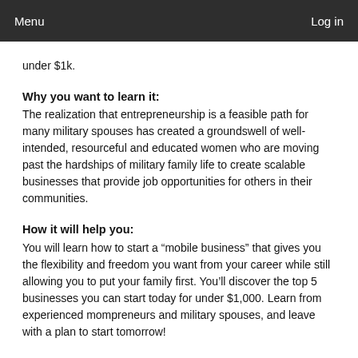Menu    Log in
under $1k.
Why you want to learn it:
The realization that entrepreneurship is a feasible path for many military spouses has created a groundswell of well-intended, resourceful and educated women who are moving past the hardships of military family life to create scalable businesses that provide job opportunities for others in their communities.
How it will help you:
You will learn how to start a “mobile business” that gives you the flexibility and freedom you want from your career while still allowing you to put your family first. You’ll discover the top 5 businesses you can start today for under $1,000. Learn from experienced mompreneurs and military spouses, and leave with a plan to start tomorrow!